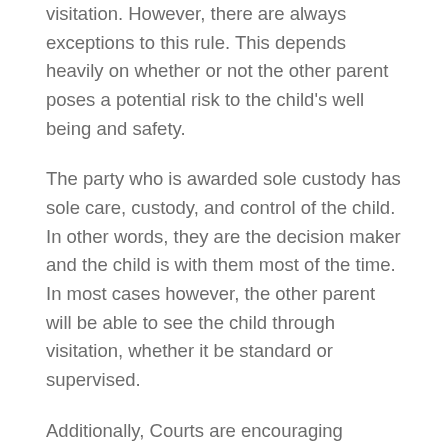visitation. However, there are always exceptions to this rule. This depends heavily on whether or not the other parent poses a potential risk to the child's well being and safety.
The party who is awarded sole custody has sole care, custody, and control of the child. In other words, they are the decision maker and the child is with them most of the time. In most cases however, the other parent will be able to see the child through visitation, whether it be standard or supervised.
Additionally, Courts are encouraging families to work together so that even when the marriage fails, the children involved have